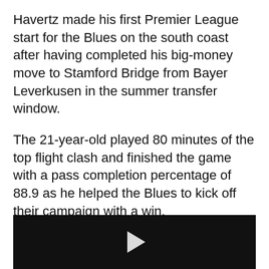Havertz made his first Premier League start for the Blues on the south coast after having completed his big-money move to Stamford Bridge from Bayer Leverkusen in the summer transfer window.
The 21-year-old played 80 minutes of the top flight clash and finished the game with a pass completion percentage of 88.9 as he helped the Blues to kick off their campaign with a win.
[Figure (other): Dark video player thumbnail with a white play button triangle in the center]